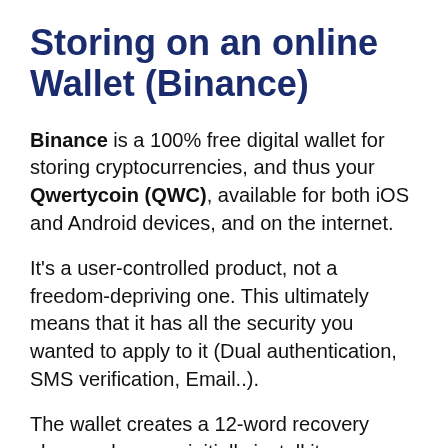Storing on an online Wallet (Binance)
Binance is a 100% free digital wallet for storing cryptocurrencies, and thus your Qwertycoin (QWC), available for both iOS and Android devices, and on the internet.
It's a user-controlled product, not a freedom-depriving one. This ultimately means that it has all the security you wanted to apply to it (Dual authentication, SMS verification, Email..).
The wallet creates a 12-word recovery phrase when you initially install it, as on other platforms, and it is your responsibility to keep it...